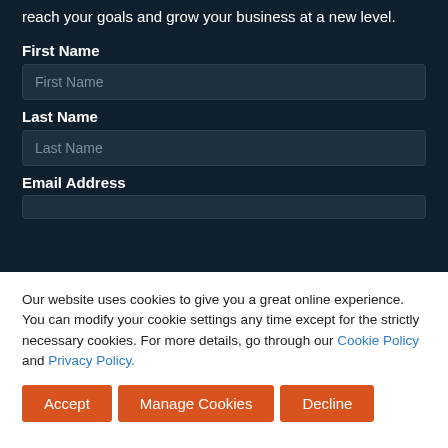reach your goals and grow your business at a new level.
First Name
Last Name
Email Address
Our website uses cookies to give you a great online experience. You can modify your cookie settings any time except for the strictly necessary cookies. For more details, go through our Cookie Policy and Privacy Policy.
Accept
Manage Cookies
Decline